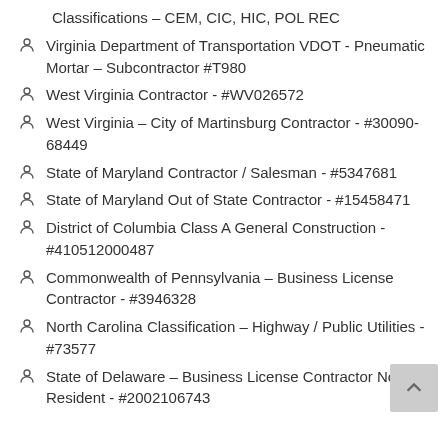Classifications – CEM, CIC, HIC, POL REC
Virginia Department of Transportation VDOT - Pneumatic Mortar – Subcontractor #T980
West Virginia Contractor - #WV026572
West Virginia – City of Martinsburg Contractor - #30090-68449
State of Maryland Contractor / Salesman - #5347681
State of Maryland Out of State Contractor - #15458471
District of Columbia Class A General Construction - #410512000487
Commonwealth of Pennsylvania – Business License Contractor - #3946328
North Carolina Classification – Highway / Public Utilities - #73577
State of Delaware – Business License Contractor Non Resident - #2002106743